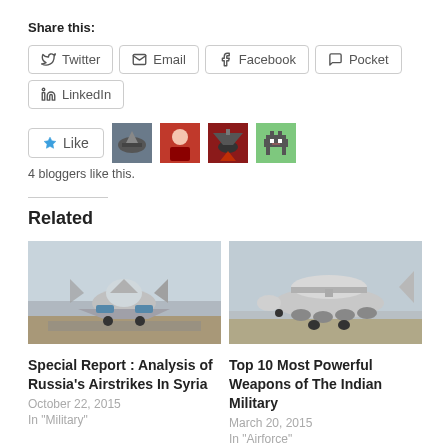Share this:
Twitter
Email
Facebook
Pocket
LinkedIn
[Figure (other): Like button with star icon and 4 blogger avatar thumbnails]
4 bloggers like this.
Related
[Figure (photo): Russian Su-30 fighter jet on runway, front view]
[Figure (photo): AWACS military surveillance aircraft on runway]
Special Report : Analysis of Russia's Airstrikes In Syria
October 22, 2015
In "Military"
Top 10 Most Powerful Weapons of The Indian Military
March 20, 2015
In "Airforce"